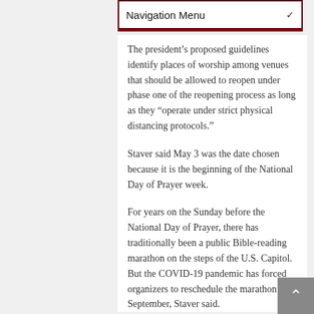Navigation Menu
The president’s proposed guidelines identify places of worship among venues that should be allowed to reopen under phase one of the reopening process as long as they “operate under strict physical distancing protocols.”
Staver said May 3 was the date chosen because it is the beginning of the National Day of Prayer week.
For years on the Sunday before the National Day of Prayer, there has traditionally been a public Bible-reading marathon on the steps of the U.S. Capitol. But the COVID-19 pandemic has forced organizers to reschedule the marathon for September, Staver said.
“It is a good time to set as a target for the